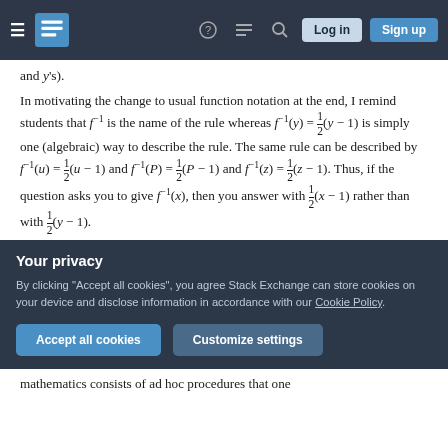Stack Exchange navigation bar with hamburger menu, logo, question mark, chat, search, Log in, Sign up buttons
and y's).
In motivating the change to usual function notation at the end, I remind students that f⁻¹ is the name of the rule whereas f⁻¹(y) = ½(y − 1) is simply one (algebraic) way to describe the rule. The same rule can be described by f⁻¹(u) = ½(u − 1) and f⁻¹(P) = ½(P − 1) and f⁻¹(z) = ½(z − 1). Thus, if the question asks you to give f⁻¹(x), then you answer with ½(x − 1) rather than with ½(y − 1).
Your privacy
By clicking "Accept all cookies", you agree Stack Exchange can store cookies on your device and disclose information in accordance with our Cookie Policy.
mathematics consists of ad hoc procedures that one